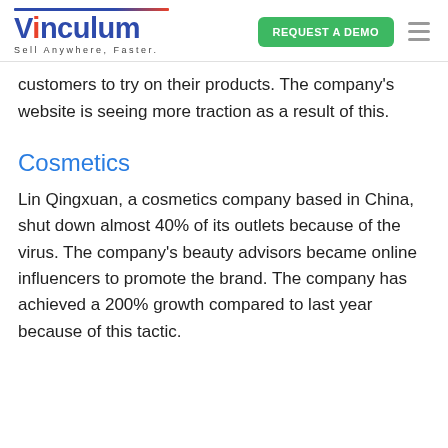Vinculum — Sell Anywhere, Faster. | REQUEST A DEMO
customers to try on their products. The company’s website is seeing more traction as a result of this.
Cosmetics
Lin Qingxuan, a cosmetics company based in China, shut down almost 40% of its outlets because of the virus. The company’s beauty advisors became online influencers to promote the brand. The company has achieved a 200% growth compared to last year because of this tactic.